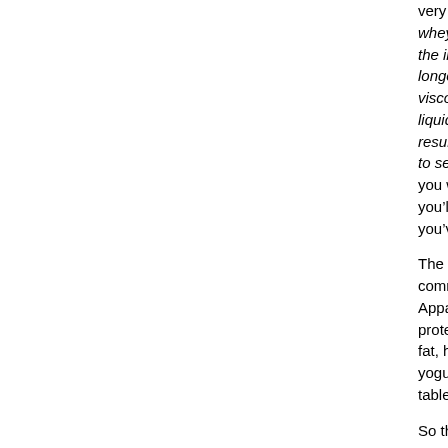very thoroughly and 'denatures the whey proteins to some extent, unfolding the initially compact molecules into longer structures that increase the viscosity - thicken the texture - of the liquid. And in the case of yogurt, it results in a firmer gel that is less prone to separating into curds and whey.' If you want to know why this happens, you'll have to buy the book - and if you've read this far you probably should!
The other point for attention is the common use of powdered milk in yogurt. Apparently this provides more milk protein without adding water or much fat, helping to make a thicker, smoother yogurt. Nigel Slater uses two tablespoons per half-litre.
So the next batch will he heat-treated according to McGee's information above and will include powdered skimmed